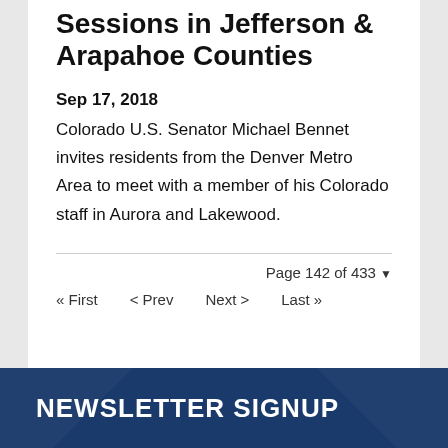Sessions in Jefferson & Arapahoe Counties
Sep 17, 2018
Colorado U.S. Senator Michael Bennet invites residents from the Denver Metro Area to meet with a member of his Colorado staff in Aurora and Lakewood.
Page 142 of 433
« First   < Prev   Next >   Last »
NEWSLETTER SIGNUP